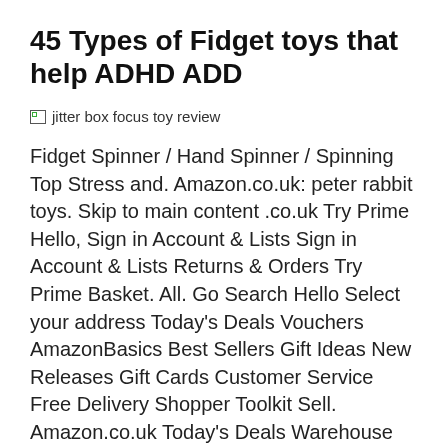45 Types of Fidget toys that help ADHD ADD
[Figure (photo): Broken image placeholder with alt text: jitter box focus toy review]
Fidget Spinner / Hand Spinner / Spinning Top Stress and. Amazon.co.uk: peter rabbit toys. Skip to main content .co.uk Try Prime Hello, Sign in Account & Lists Sign in Account & Lists Returns & Orders Try Prime Basket. All. Go Search Hello Select your address Today's Deals Vouchers AmazonBasics Best Sellers Gift Ideas New Releases Gift Cards Customer Service Free Delivery Shopper Toolkit Sell. Amazon.co.uk Today's Deals Warehouse Deals Outlet